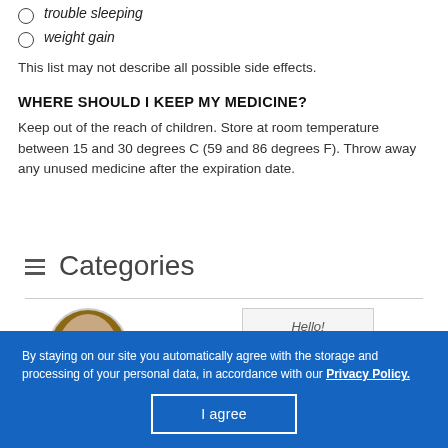trouble sleeping
weight gain
This list may not describe all possible side effects.
WHERE SHOULD I KEEP MY MEDICINE?
Keep out of the reach of children. Store at room temperature between 15 and 30 degrees C (59 and 86 degrees F). Throw away any unused medicine after the expiration date.
Categories
[Figure (photo): Circular portrait photo of a person with brown hair]
Hello!
By staying on our site you automatically agree with the storage and processing of your personal data, in accordance with our Privacy Policy.